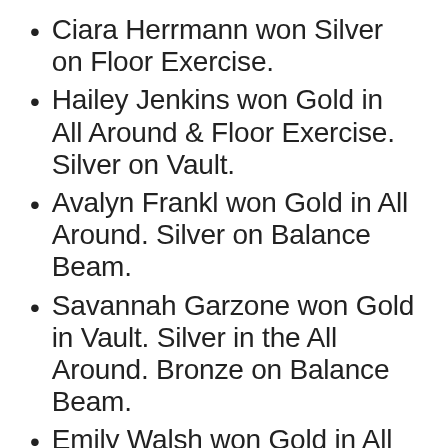Ciara Herrmann won Silver on Floor Exercise.
Hailey Jenkins won Gold in All Around & Floor Exercise. Silver on Vault.
Avalyn Frankl won Gold in All Around. Silver on Balance Beam.
Savannah Garzone won Gold in Vault. Silver in the All Around. Bronze on Balance Beam.
Emily Walsh won Gold in All Around, Balance Beam &